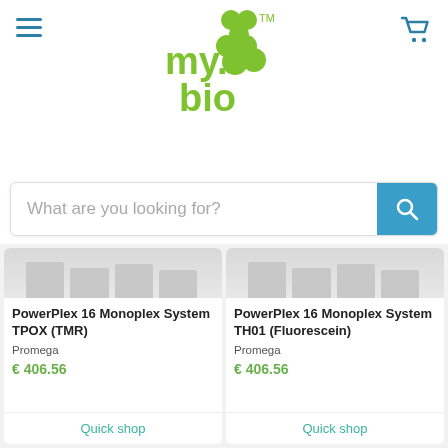[Figure (logo): my.bio green logo with TM mark and shopping cart icon, plus hamburger menu]
What are you looking for?
[Figure (photo): Product image for PowerPlex 16 Monoplex System TPOX (TMR) - gray/white laboratory product boxes]
PowerPlex 16 Monoplex System TPOX (TMR)
Promega
€ 406.56
Quick shop
[Figure (photo): Product image for PowerPlex 16 Monoplex System TH01 (Fluorescein) - gray/white laboratory product boxes]
PowerPlex 16 Monoplex System TH01 (Fluorescein)
Promega
€ 406.56
Quick shop